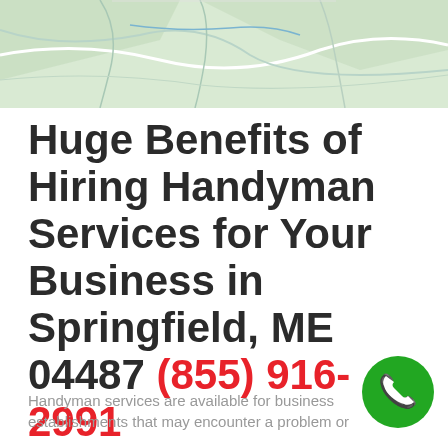[Figure (map): A light green road map showing Springfield, ME area with roads and boundaries]
Huge Benefits of Hiring Handyman Services for Your Business in Springfield, ME 04487 (855) 916-2991
Handyman services are available for business establishments that may encounter a problem or